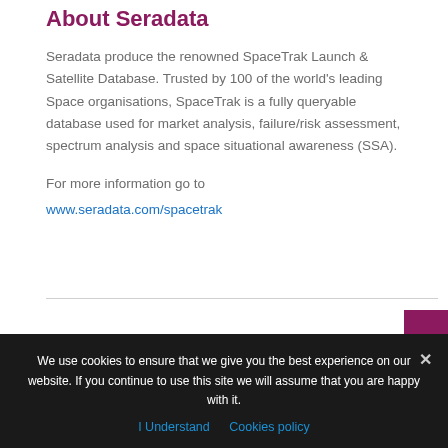About Seradata
Seradata produce the renowned SpaceTrak Launch & Satellite Database. Trusted by 100 of the world's leading Space organisations, SpaceTrak is a fully queryable database used for market analysis, failure/risk assessment, spectrum analysis and space situational awareness (SSA).
For more information go to www.seradata.com/spacetrak
We use cookies to ensure that we give you the best experience on our website. If you continue to use this site we will assume that you are happy with it.
I Understand   Cookies policy